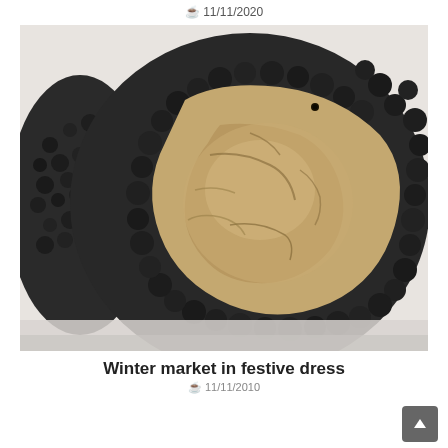11/11/2020
[Figure (photo): Close-up photograph of black truffles, showing a cross-section with a beige/tan interior marbling and rough dark bumpy exterior skin, placed on a white surface.]
Winter market in festive dress
11/11/2010